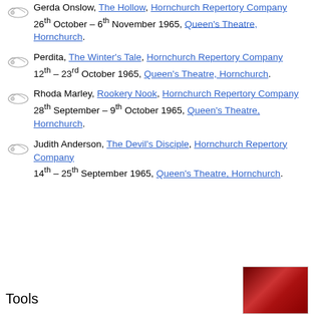Gerda Onslow, The Hollow, Hornchurch Repertory Company. 26th October – 6th November 1965, Queen's Theatre, Hornchurch.
Perdita, The Winter's Tale, Hornchurch Repertory Company. 12th – 23rd October 1965, Queen's Theatre, Hornchurch.
Rhoda Marley, Rookery Nook, Hornchurch Repertory Company. 28th September – 9th October 1965, Queen's Theatre, Hornchurch.
Judith Anderson, The Devil's Disciple, Hornchurch Repertory Company. 14th – 25th September 1965, Queen's Theatre, Hornchurch.
Tools
[Figure (photo): Small photo of a person, partially visible, reddish background]